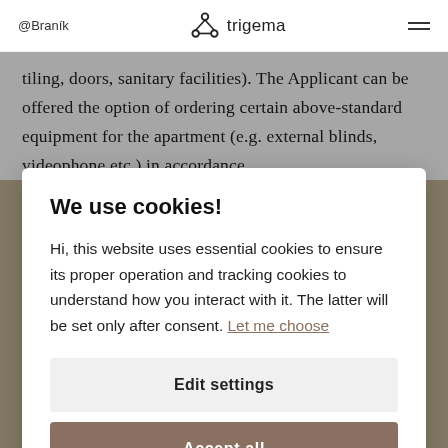@Branik | trigema
tiling, doors, sanitary facilities). The Applicant can be offered the option of ordering certain above-standard equipment for the apartment (e.g. external blinds, videophone etc.) in accordance
We use cookies!
Hi, this website uses essential cookies to ensure its proper operation and tracking cookies to understand how you interact with it. The latter will be set only after consent. Let me choose
Edit settings
Accept all